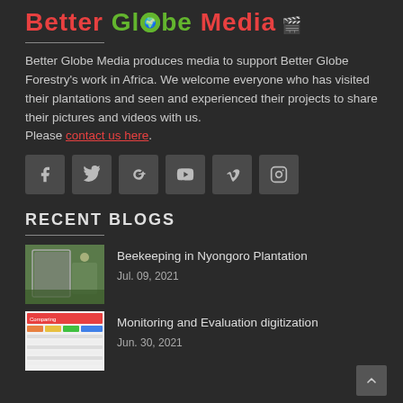Better Globe Media
Better Globe Media produces media to support Better Globe Forestry's work in Africa. We welcome everyone who has visited their plantations and seen and experienced their projects to share their pictures and videos with us.
Please contact us here.
[Figure (other): Social media icon buttons: Facebook, Twitter, Google+, YouTube, Vimeo, Instagram]
RECENT BLOGS
[Figure (photo): Thumbnail photo of beekeeping shelter in Nyongoro Plantation]
Beekeeping in Nyongoro Plantation
Jul. 09, 2021
[Figure (screenshot): Thumbnail screenshot of Monitoring and Evaluation digitization article]
Monitoring and Evaluation digitization
Jun. 30, 2021